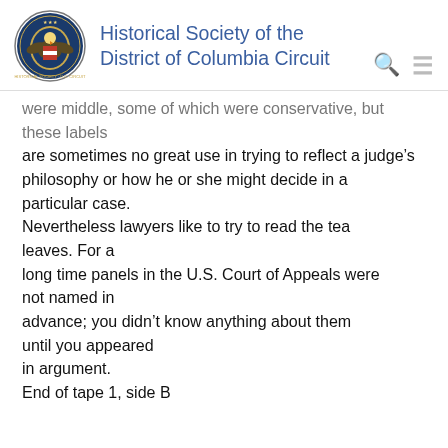Historical Society of the District of Columbia Circuit
were middle, some of which were conservative, but these labels are sometimes no great use in trying to reflect a judge's philosophy or how he or she might decide in a particular case. Nevertheless lawyers like to try to read the tea leaves. For a long time panels in the U.S. Court of Appeals were not named in advance; you didn't know anything about them until you appeared in argument. End of tape 1, side B